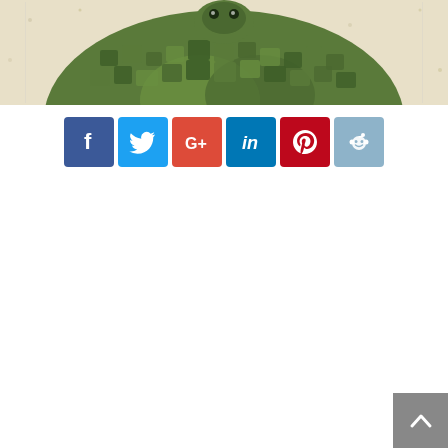[Figure (illustration): Top portion of a decorative illustration showing a turtle or tortoise with a mosaic/textured green and brown shell pattern against a light speckled background. Only the upper portion is visible, cropped at the bottom.]
[Figure (infographic): A row of six social media share buttons: Facebook (blue), Twitter (light blue), Google+ (red/orange), LinkedIn (teal/blue), Pinterest (dark red), Reddit (steel blue). Each is a square button with the platform's icon in white.]
[Figure (other): Back to top button — a gray square in the bottom-right corner with an upward-pointing chevron/arrow icon in white.]